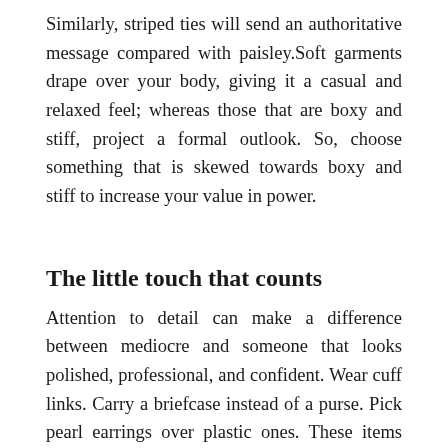Similarly, striped ties will send an authoritative message compared with paisley.Soft garments drape over your body, giving it a casual and relaxed feel; whereas those that are boxy and stiff, project a formal outlook. So, choose something that is skewed towards boxy and stiff to increase your value in power.
The little touch that counts
Attention to detail can make a difference between mediocre and someone that looks polished, professional, and confident. Wear cuff links. Carry a briefcase instead of a purse. Pick pearl earrings over plastic ones. These items can help you exude power